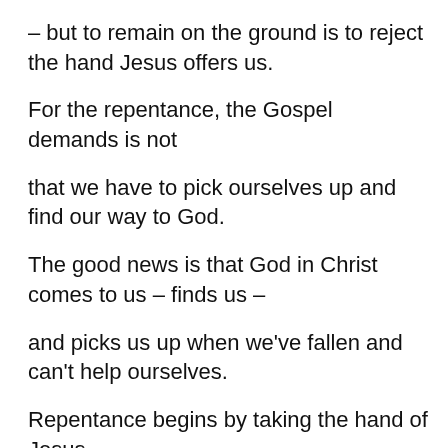– but to remain on the ground is to reject the hand Jesus offers us.
For the repentance, the Gospel demands is not
that we have to pick ourselves up and find our way to God.
The good news is that God in Christ comes to us – finds us –
and picks us up when we've fallen and can't help ourselves.
Repentance begins by taking the hand of Jesus